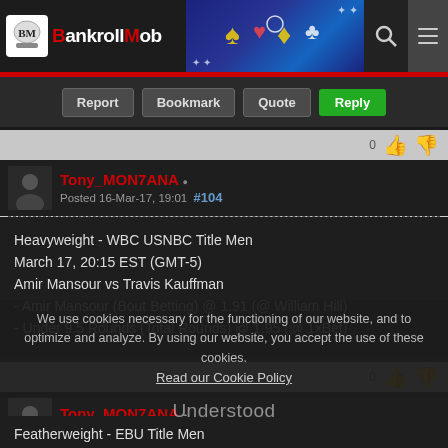The BankrollMob
Report  Bookmark  Quote  Reply
Tony_MON7ANA
Posted 16-Mar-17, 19:01  #104
Heavyweight - WBC USNBC Title Men
March 17, 20:15 EST (GMT-5)
Amir Mansour vs Travis Kauffman
- Amir Mansour (Bout Betting) @ 1.91 (@ William Hill)
- Under 9.5 Rounds (Total Rounds) @ 1.95 (@ 1xBet)
Report  Bookmark  Quote  Reply
We use cookies necessary for the functioning of our website, and to optimize and analyze. By using our website, you accept the use of these cookies.
Read our Cookie Policy
Tony_MON7ANA
Posted 17-Mar-17, 21:21
Featherweight - EBU Title Men
March 18, 13:30 EST (GMT-5)